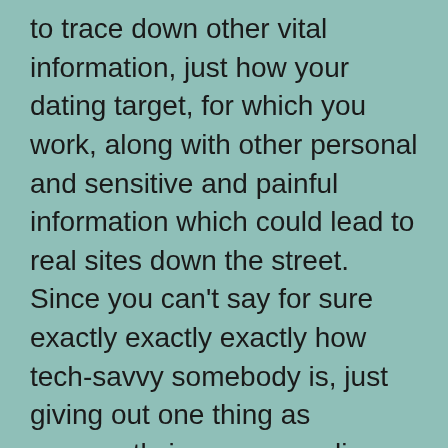to trace down other vital information, just how your dating target, for which you work, along with other personal and sensitive and painful information which could lead to real sites down the street. Since you can't say for sure exactly exactly exactly how tech-savvy somebody is, just giving out one thing as apparently innocuous online your contact number might have some dangerous effects. Will there be an answer for this known degree of vulnerability?
The clear answer is yes. The most suitable choice is to make use of digital telephone numbers from online dating sites, often to Digit...